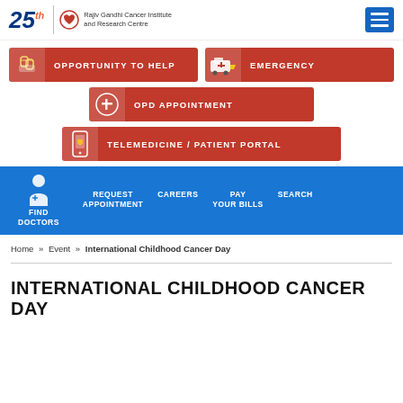[Figure (logo): Rajiv Gandhi Cancer Institute and Research Centre logo with 25th anniversary badge]
[Figure (infographic): Red button: OPPORTUNITY TO HELP with hands icon]
[Figure (infographic): Red button: EMERGENCY with ambulance icon]
[Figure (infographic): Red button: OPD APPOINTMENT with first-aid icon]
[Figure (infographic): Red button: TELEMEDICINE / PATIENT PORTAL with phone icon]
[Figure (infographic): Blue navigation bar with doctor icon, FIND DOCTORS, REQUEST APPOINTMENT, CAREERS, PAY YOUR BILLS, SEARCH]
Home » Event » International Childhood Cancer Day
INTERNATIONAL CHILDHOOD CANCER DAY